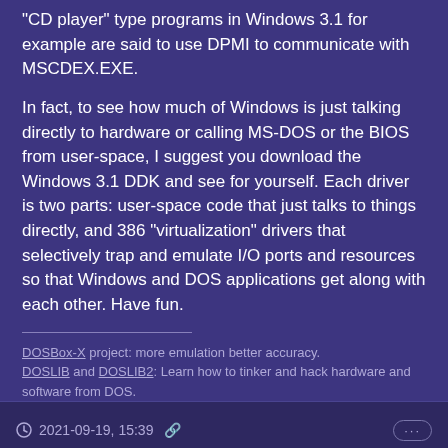"CD player" type programs in Windows 3.1 for example are said to use DPMI to communicate with MSCDEX.EXE.

In fact, to see how much of Windows is just talking directly to hardware or calling MS-DOS or the BIOS from user-space, I suggest you download the Windows 3.1 DDK and see for yourself. Each driver is two parts: user-space code that just talks to things directly, and 386 "virtualization" drivers that selectively trap and emulate I/O ports and resources so that Windows and DOS applications get along with each other. Have fun.
DOSBox-X project: more emulation better accuracy.
DOSLIB and DOSLIB2: Learn how to tinker and hack hardware and software from DOS.
2021-09-19, 15:39
manicgamer
Newbie